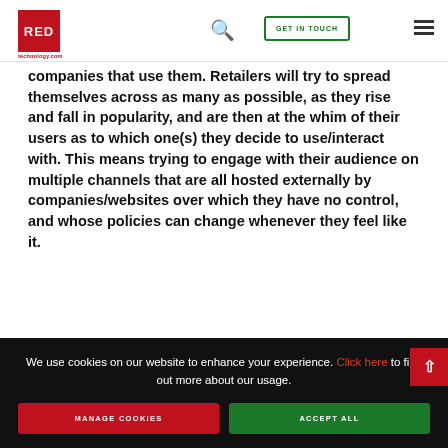RED Technology — redtechnology.com
companies that use them. Retailers will try to spread themselves across as many as possible, as they rise and fall in popularity, and are then at the whim of their users as to which one(s) they decide to use/interact with. This means trying to engage with their audience on multiple channels that are all hosted externally by companies/websites over which they have no control, and whose policies can change whenever they feel like it.
We use cookies on our website to enhance your experience. Click here to find out more about our usage.
MANAGE COOKIES     ACCEPT ALL